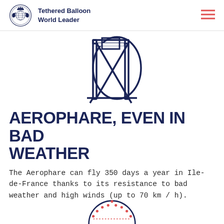Tethered Balloon World Leader
[Figure (illustration): Line drawing icon of a tethered balloon / mooring mast structure — a tall rectangular frame with diagonal cross braces and an oval balloon shape behind it, rendered in dark navy blue outline style]
AEROPHARE, EVEN IN BAD WEATHER
The Aerophare can fly 350 days a year in Ile-de-France thanks to its resistance to bad weather and high winds (up to 70 km / h).
[Figure (illustration): Partial circular icon showing a dotted arc pattern in red/coral color — bottom portion of a circular infographic, partially cropped at the bottom of the page]